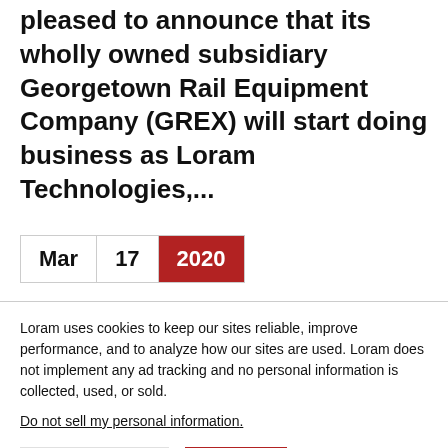pleased to announce that its wholly owned subsidiary Georgetown Rail Equipment Company (GREX) will start doing business as Loram Technologies,...
Mar 17 2020
Loram uses cookies to keep our sites reliable, improve performance, and to analyze how our sites are used. Loram does not implement any ad tracking and no personal information is collected, used, or sold.
Do not sell my personal information.